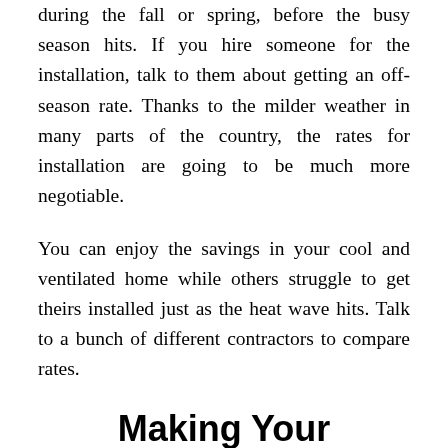during the fall or spring, before the busy season hits. If you hire someone for the installation, talk to them about getting an off-season rate. Thanks to the milder weather in many parts of the country, the rates for installation are going to be much more negotiable.
You can enjoy the savings in your cool and ventilated home while others struggle to get theirs installed just as the heat wave hits. Talk to a bunch of different contractors to compare rates.
Making Your Decision On A Payne Air Conditioner
Controlling your house's temperature from your phone seems like a cool feature, but it isn't necessary to keep